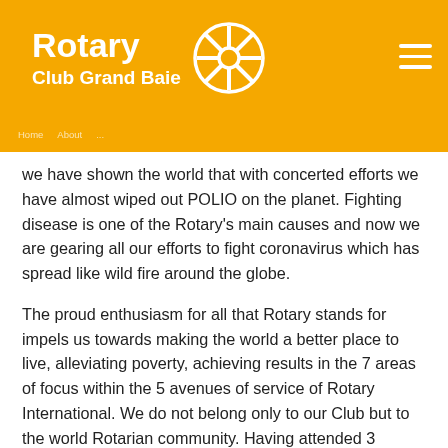Rotary Club Grand Baie
we have shown the world that with concerted efforts we have almost wiped out POLIO on the planet. Fighting disease is one of the Rotary's main causes and now we are gearing all our efforts to fight coronavirus which has spread like wild fire around the globe.
The proud enthusiasm for all that Rotary stands for impels us towards making the world a better place to live, alleviating poverty, achieving results in the 7 areas of focus within the 5 avenues of service of Rotary International. We do not belong only to our Club but to the world Rotarian community. Having attended 3 Rotary World Conventions (Bangkok, New Orleans and Atlanta), I urge my fellow members to experience a